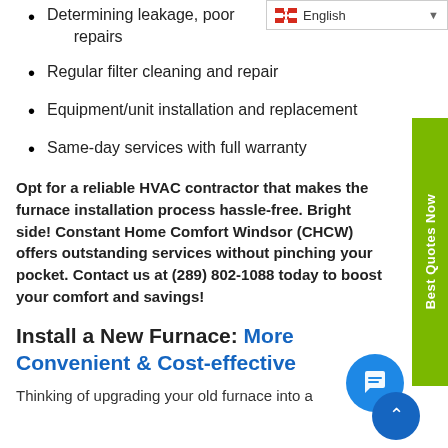Determining leakage, poor repairs
Regular filter cleaning and repair
Equipment/unit installation and replacement
Same-day services with full warranty
Opt for a reliable HVAC contractor that makes the furnace installation process hassle-free. Bright side! Constant Home Comfort Windsor (CHCW) offers outstanding services without pinching your pocket. Contact us at (289) 802-1088 today to boost your comfort and savings!
Install a New Furnace: More Convenient & Cost-effective
Thinking of upgrading your old furnace into a